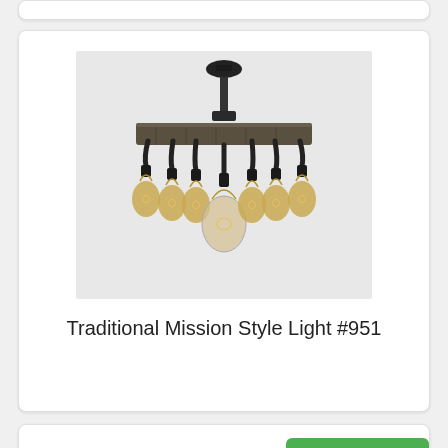[Figure (photo): A traditional mission style chandelier with a rectangular dark wood beam frame hanging from a black metal rod and ceiling mount. Eight Edison-style filament bulbs hang from black metal sockets around the perimeter and center of the fixture, one larger glass globe in the center.]
Traditional Mission Style Light #951